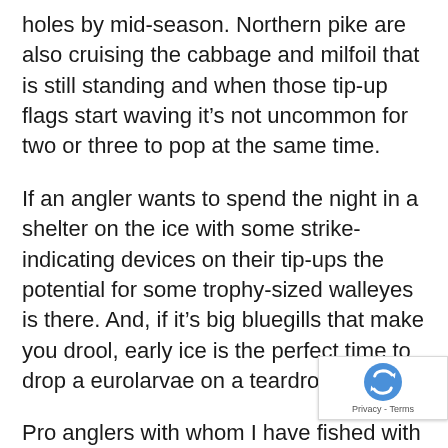holes by mid-season. Northern pike are also cruising the cabbage and milfoil that is still standing and when those tip-up flags start waving it's not uncommon for two or three to pop at the same time.
If an angler wants to spend the night in a shelter on the ice with some strike-indicating devices on their tip-ups the potential for some trophy-sized walleyes is there. And, if it's big bluegills that make you drool, early ice is the perfect time to drop a eurolarvae on a teardrop jig.
Pro anglers with whom I have fished with over the years stress: Don't fish memories. What they mean by that is the average angler tends to return to spots where they caught fish in the past, yet if conditions don't favor those areas, the
[Figure (logo): reCAPTCHA badge with spinning arrows logo and Privacy - Terms text]